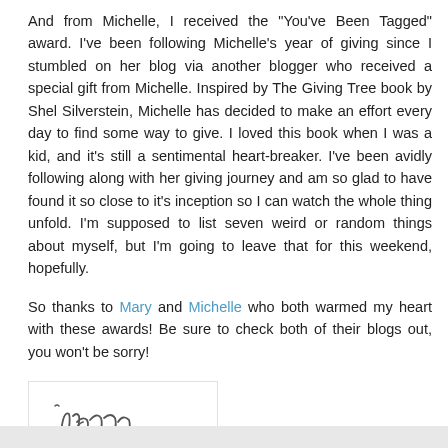And from Michelle, I received the "You've Been Tagged" award. I've been following Michelle's year of giving since I stumbled on her blog via another blogger who received a special gift from Michelle. Inspired by The Giving Tree book by Shel Silverstein, Michelle has decided to make an effort every day to find some way to give. I loved this book when I was a kid, and it's still a sentimental heart-breaker. I've been avidly following along with her giving journey and am so glad to have found it so close to it's inception so I can watch the whole thing unfold. I'm supposed to list seven weird or random things about myself, but I'm going to leave that for this weekend, hopefully.

So thanks to Mary and Michelle who both warmed my heart with these awards! Be sure to check both of their blogs out, you won't be sorry!
[Figure (illustration): Handwritten signature reading 'Jenny' in cursive script inside a light-bordered box]